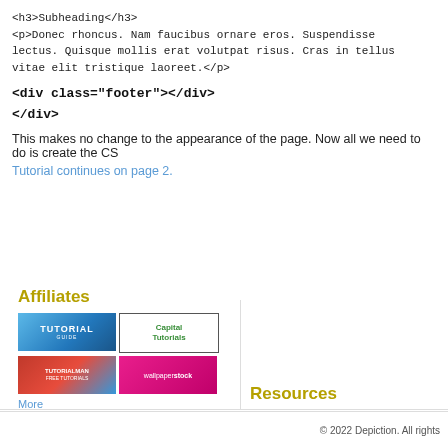<h3>Subheading</h3>
<p>Donec rhoncus. Nam faucibus ornare eros. Suspendisse lectus. Quisque mollis erat volutpat risus. Cras in tellus vitae elit tristique laoreet.</p>
<div class="footer"></div>
</div>
This makes no change to the appearance of the page. Now all we need to do is create the CS
Tutorial continues on page 2.
Affiliates
Resources
[Figure (illustration): Four affiliate banner images: Tutorial Guide (blue), Capital Tutorials (green text on white), TutorialMan (red/blue gradient), wallpaperstock (pink/magenta)]
More
© 2022 Depiction. All rights